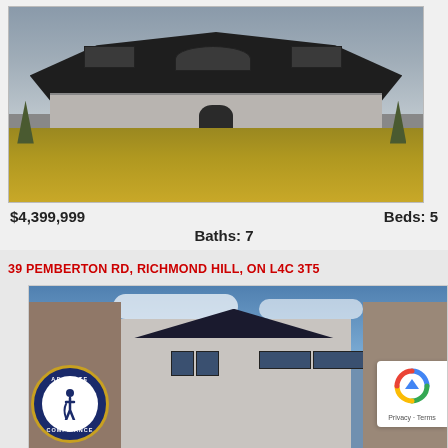[Figure (photo): Large stone mansion with dark roof and lawn]
$4,399,999    Beds: 5
Baths: 7
39 PEMBERTON RD, RICHMOND HILL, ON L4C 3T5
[Figure (photo): Modern two-storey house with dark roof and stone facade, with ADA Site Compliance badge and reCAPTCHA widget overlay]